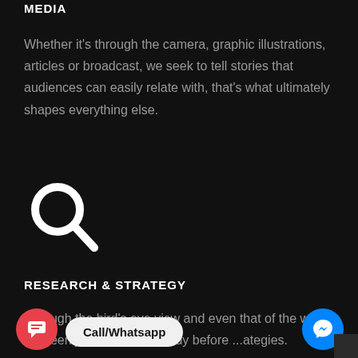MEDIA
Whether it's through the camera, graphic illustrations, articles or broadcast, we seek to tell stories that audiences can easily relate with, that's what ultimately shapes everything else.
[Figure (illustration): White search/magnifying glass icon on dark background]
RESEARCH & STRATEGY
Through the bird's eye view and even that of the worm, we keenly observe and study before ...ategies.
[Figure (illustration): Bottom UI overlay with red chat button, Call/Whatsapp pill button, and blue Facebook Messenger button]